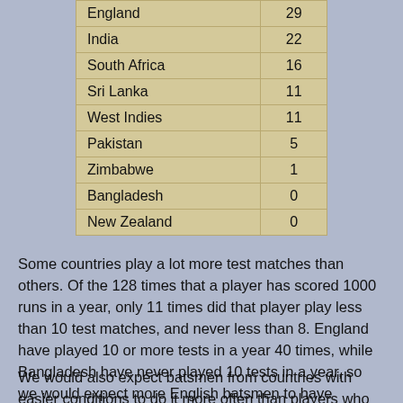| Country | Count |
| --- | --- |
| England | 29 |
| India | 22 |
| South Africa | 16 |
| Sri Lanka | 11 |
| West Indies | 11 |
| Pakistan | 5 |
| Zimbabwe | 1 |
| Bangladesh | 0 |
| New Zealand | 0 |
Some countries play a lot more test matches than others. Of the 128 times that a player has scored 1000 runs in a year, only 11 times did that player play less than 10 test matches, and never less than 8. England have played 10 or more tests in a year 40 times, while Bangladesh have never played 10 tests in a year, so we would expect more English batsmen to have achieved the feat more often than Bangladeshi batsmen.
We would also expect batsmen from countries with easier conditions to do it more often than players who play half their